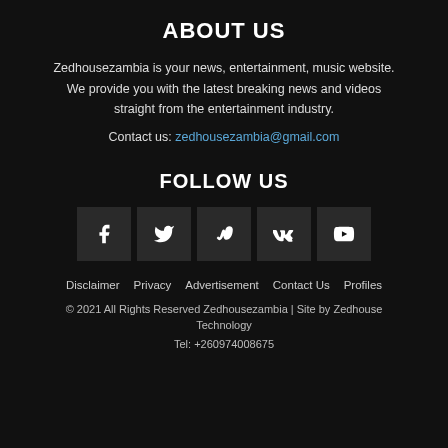ABOUT US
Zedhousezambia is your news, entertainment, music website. We provide you with the latest breaking news and videos straight from the entertainment industry.
Contact us: zedhousezambia@gmail.com
FOLLOW US
[Figure (infographic): Five social media icon buttons: Facebook (f), Twitter (bird), Vimeo (V), VK (VK), YouTube (play button)]
Disclaimer   Privacy   Advertisement   Contact Us   Profiles
© 2021 All Rights Reserved Zedhousezambia | Site by Zedhouse Technology
Tel: +260974008675